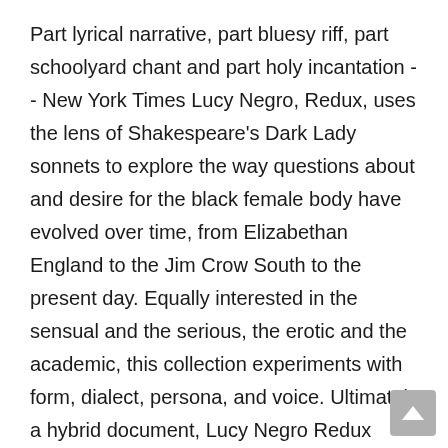Part lyrical narrative, part bluesy riff, part schoolyard chant and part holy incantation -- New York Times Lucy Negro, Redux, uses the lens of Shakespeare's Dark Lady sonnets to explore the way questions about and desire for the black female body have evolved over time, from Elizabethan England to the Jim Crow South to the present day. Equally interested in the sensual and the serious, the erotic and the academic, this collection experiments with form, dialect, persona, and voice. Ultimately a hybrid document, Lucy Negro Redux harnesses blues poetry, deconstructed sonnets, historical documents and lyric essays to tell the challenging, many-faceted story of the Dark Lady, her Shakespeare, and their real and imagined milieu. Inspired by the book, The Nashville Ballet will premiere "Lucy Negro Redux," an original ballet conceived and choreographed by Artistic Director & CEO Paul...